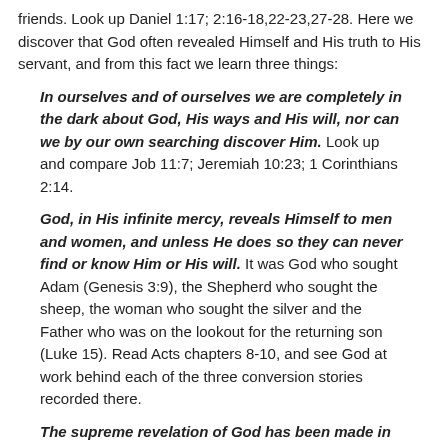friends. Look up Daniel 1:17; 2:16-18,22-23,27-28. Here we discover that God often revealed Himself and His truth to His servant, and from this fact we learn three things:
In ourselves and of ourselves we are completely in the dark about God, His ways and His will, nor can we by our own searching discover Him. Look up and compare Job 11:7; Jeremiah 10:23; 1 Corinthians 2:14.
God, in His infinite mercy, reveals Himself to men and women, and unless He does so they can never find or know Him or His will. It was God who sought Adam (Genesis 3:9), the Shepherd who sought the sheep, the woman who sought the silver and the Father who was on the lookout for the returning son (Luke 15). Read Acts chapters 8-10, and see God at work behind each of the three conversion stories recorded there.
The supreme revelation of God has been made in Christ, who is God manifest in the flesh. Look up John 1:1-3,14.
3. THE GOD WHO IS IN HEAVEN IS A GOD WHO HEARS AND ANSWERS THE